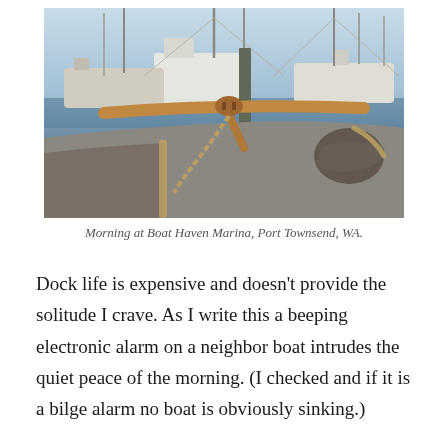[Figure (photo): Photo of a marina with multiple sailboats and masts in the background, taken from the deck of a wooden sailboat in the foreground. A wooden boom/tiller mechanism with rope is visible in the center-foreground. Morning light, Port Townsend, WA.]
Morning at Boat Haven Marina, Port Townsend, WA.
Dock life is expensive and doesn't provide the solitude I crave. As I write this a beeping electronic alarm on a neighbor boat intrudes the quiet peace of the morning. (I checked and if it is a bilge alarm no boat is obviously sinking.)